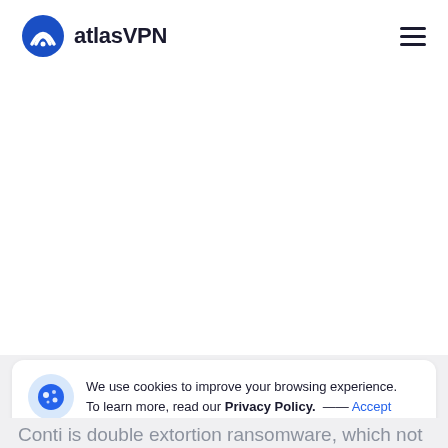atlasVPN
We use cookies to improve your browsing experience. To learn more, read our Privacy Policy.  —— Accept
Conti is double extortion ransomware, which not